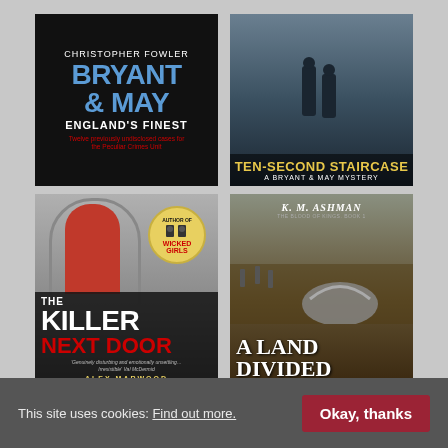[Figure (illustration): Book cover: Bryant & May England's Finest by Christopher Fowler — black background with blue title text]
[Figure (illustration): Book cover: Ten-Second Staircase, A Bryant & May Mystery — dark moody cover with two silhouetted figures and yellow title text]
[Figure (illustration): Book cover: The Killer Next Door by Alex Marwood — grey/black cover with red door, badge reading 'Author of Wicked Girls', bold white and red title text]
[Figure (illustration): Book cover: A Land Divided by K. M. Ashman, The Blood of Kings Book 1 — historical battle scene with helmet in foreground, white serif title text]
This site uses cookies: Find out more.
Okay, thanks